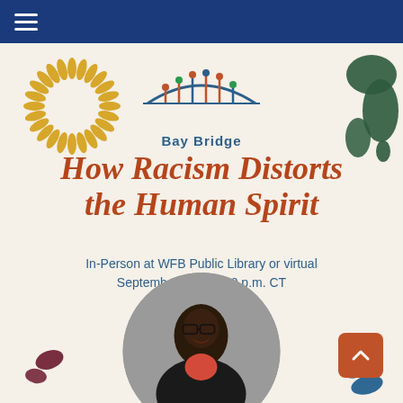Navigation bar with hamburger menu
[Figure (logo): Bay Bridge logo with colorful people figures forming an arch/bridge shape, with text 'Bay Bridge' below in blue]
How Racism Distorts the Human Spirit
In-Person at WFB Public Library or virtual
September 29 at 6:30 p.m. CT
[Figure (photo): Circular portrait photo of a Black woman smiling, wearing glasses and a blazer, with short natural hair and earrings]